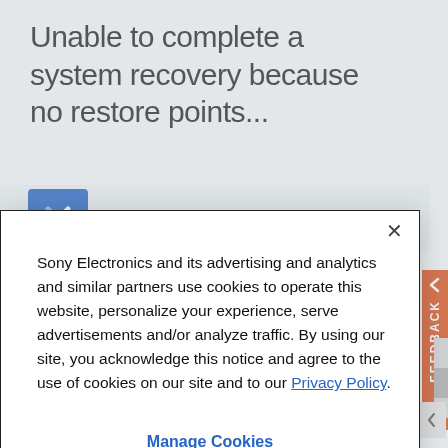Unable to complete a system recovery because no restore points...
Repair information and service assistance
Contact Support
Sony Electronics and its advertising and analytics and similar partners use cookies to operate this website, personalize your experience, serve advertisements and/or analyze traffic. By using our site, you acknowledge this notice and agree to the use of cookies on our site and to our Privacy Policy.
Manage Cookies